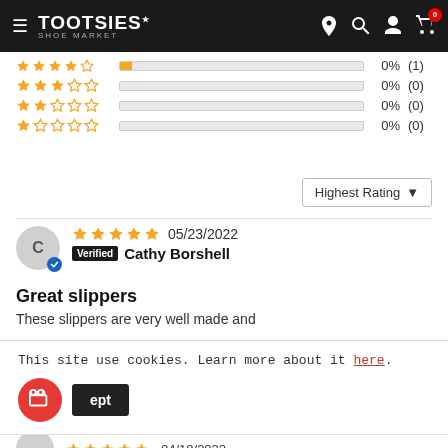TOOTSIES Shoe Market
[Figure (other): Star rating rows showing 3-star 0% (0), 2-star 0% (0), 1-star 0% (0) with progress bars]
Highest Rating ▼
05/23/2022 Verified Cathy Borshell
Great slippers
These slippers are very well made and
This site use cookies. Learn more about it here.
ept
[Figure (other): Partial next review with stars and date 04/18/2022]